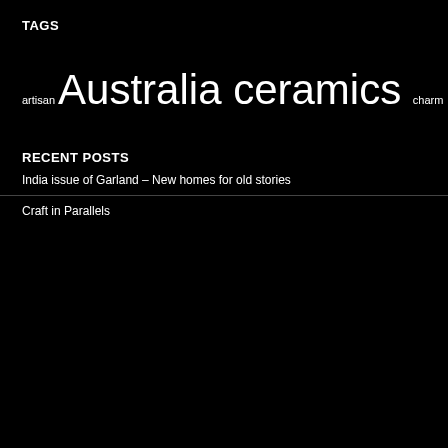TAGS
[Figure (infographic): Tag cloud with words of varying sizes representing topics: artisan, Australia, ceramics, charm, Chile, China, climate change, collaboration, common, conference, craft, Craft Australia, design, Exhibition, fashion, fibre, Fiji, forest, garland, homepage, India, Indigenous, Indonesia, jewellery, Melbourne, New Zealand, Pacifc, Pacific, poor craft, Queensland, recycling, relational craft, rich, silver, skill, skill shortage, South Africa, textiles, Thailand, USA, visual art, weaving, welcome, world craft, World Craft Council]
RECENT POSTS
India issue of Garland – New homes for old stories
Craft in Parallels